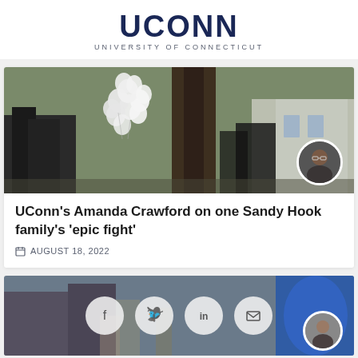UCONN UNIVERSITY OF CONNECTICUT
[Figure (photo): Outdoor memorial scene with white balloons tied to a tree, a green sign reading 'our hearts', and people gathering. A small circular portrait photo of a woman with glasses is overlaid in the bottom right corner.]
UConn's Amanda Crawford on one Sandy Hook family's 'epic fight'
AUGUST 18, 2022
[Figure (photo): Second article card at bottom, partially visible, showing a laboratory or medical scene. Social sharing icons (Facebook, Twitter, LinkedIn, Email) overlaid on the image. A small circular portrait in the bottom right.]